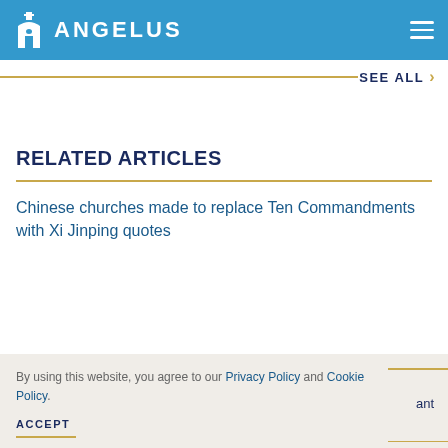ANGELUS
SEE ALL
RELATED ARTICLES
Chinese churches made to replace Ten Commandments with Xi Jinping quotes
By using this website, you agree to our Privacy Policy and Cookie Policy.
ACCEPT